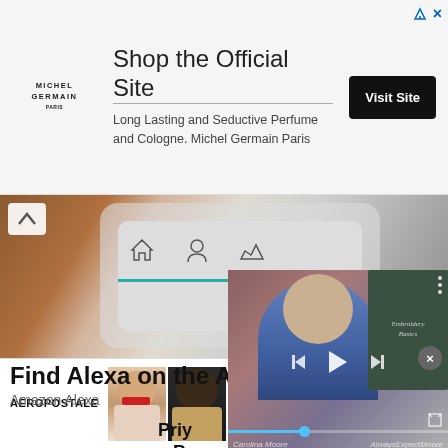[Figure (screenshot): Michel Germain advertisement banner with logo, headline 'Shop the Official Site', subtext 'Long Lasting and Seductive Perfume and Cologne. Michel Germain Paris', and 'Visit Site' button]
[Figure (screenshot): Video thumbnail showing a smartphone screen with app icons and 00:15 timestamp, with up-arrow chevron icon]
Find Alexa on the Am
Amazon Alexa
[Figure (photo): Portrait photo of a young woman smiling, wearing a floral top]
Priy... a Bu...
Wells...
[Figure (screenshot): Video player overlay showing a woman in blue top in front of a chalkboard with 'Embroidery Basics' text, with playback controls and progress bar, watermark 'Carolina Moore AlwaysExpectMoore']
[Figure (screenshot): Aeropostale advertisement banner with two female models, '50-70% off Everything!' text in red, and 'BUY NOW' button]